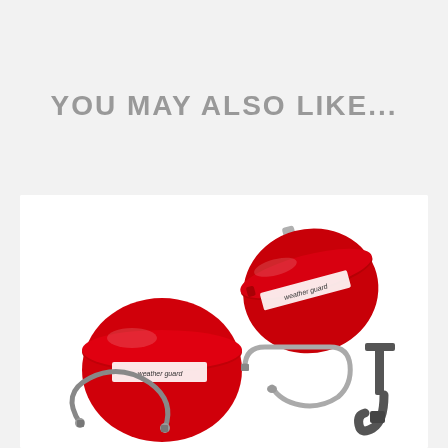YOU MAY ALSO LIKE...
[Figure (photo): Product photo showing two red round Weather Guard branded tins/caps and three metal hooks or clips arranged on a white background]